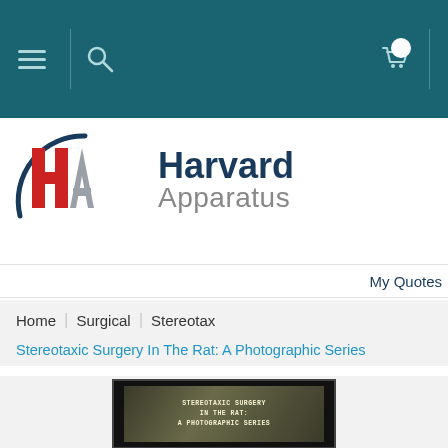[Figure (screenshot): Website navigation bar with teal background showing hamburger menu icon, search icon, and shopping cart icon with notification badge]
[Figure (logo): Harvard Apparatus logo with HA monogram (H in red, A in grey) and text 'Harvard Apparatus' in dark blue and grey]
My Quotes
Home | Surgical | Stereotax
Stereotaxic Surgery In The Rat: A Photographic Series
[Figure (photo): Book or slide cover image showing text STEREOTAXIC SURGERY IN THE RAT: A PHOTOGRAPHIC SERIES on dark background]